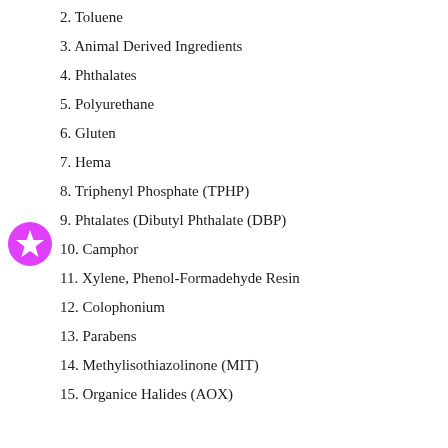2. Toluene
3. Animal Derived Ingredients
4. Phthalates
5. Polyurethane
6. Gluten
7. Hema
8. Triphenyl Phosphate (TPHP)
9. Phtalates (Dibutyl Phthalate (DBP)
10. Camphor
11. Xylene, Phenol-Formadehyde Resin
12. Colophonium
13. Parabens
14. Methylisothiazolinone (MIT)
15. Organice Halides (AOX)